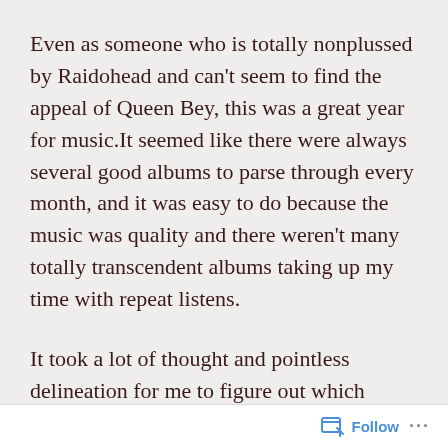Even as someone who is totally nonplussed by Raidohead and can't seem to find the appeal of Queen Bey, this was a great year for music.It seemed like there were always several good albums to parse through every month, and it was easy to do because the music was quality and there weren't many totally transcendent albums taking up my time with repeat listens.
It took a lot of thought and pointless delineation for me to figure out which albums I would name as my favorite of the year, but the cream and the chafe must be separated, and I want to crank this list out while it's still 2016
Follow ···